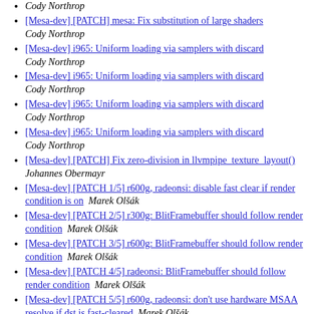[Mesa-dev] [PATCH] mesa: Fix substitution of large shaders  Cody Northrop
[Mesa-dev] i965: Uniform loading via samplers with discard  Cody Northrop
[Mesa-dev] i965: Uniform loading via samplers with discard  Cody Northrop
[Mesa-dev] i965: Uniform loading via samplers with discard  Cody Northrop
[Mesa-dev] i965: Uniform loading via samplers with discard  Cody Northrop
[Mesa-dev] [PATCH] Fix zero-division in llvmpipe_texture_layout()  Johannes Obermayr
[Mesa-dev] [PATCH 1/5] r600g, radeonsi: disable fast clear if render condition is on  Marek Olšák
[Mesa-dev] [PATCH 2/5] r300g: BlitFramebuffer should follow render condition  Marek Olšák
[Mesa-dev] [PATCH 3/5] r600g: BlitFramebuffer should follow render condition  Marek Olšák
[Mesa-dev] [PATCH 4/5] radeonsi: BlitFramebuffer should follow render condition  Marek Olšák
[Mesa-dev] [PATCH 5/5] r600g, radeonsi: don't use hardware MSAA resolve if dst is fast-cleared  Marek Olšák
[Mesa-dev] [PATCH] r600g, radeonsi: implement PIPE_QUERY_TIMESTAMP_DISJOINT  Marek Olšák
[Mesa-dev] [PATCH] L...